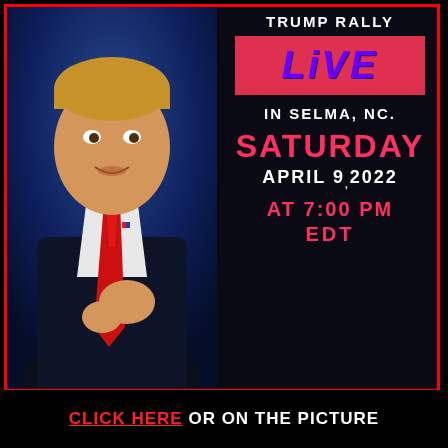[Figure (photo): Photo of a man in a dark suit with red tie on a dark blue background, pointing gesture, at a rally event]
TRUMP RALLY
LIVE
IN SELMA, NC.
SATURDAY
APRIL 9, 2022
AT 7:00 PM EDT
CLICK HERE OR ON THE PICTURE